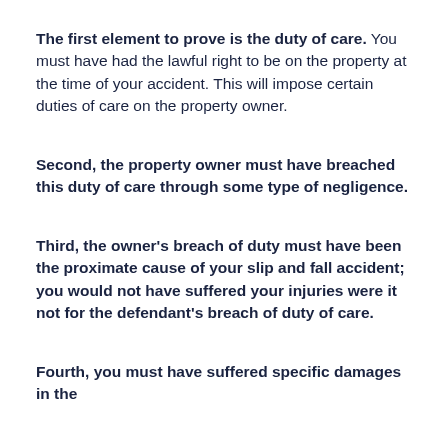The first element to prove is the duty of care. You must have had the lawful right to be on the property at the time of your accident. This will impose certain duties of care on the property owner.
Second, the property owner must have breached this duty of care through some type of negligence.
Third, the owner's breach of duty must have been the proximate cause of your slip and fall accident; you would not have suffered your injuries were it not for the defendant's breach of duty of care.
Fourth, you must have suffered specific damages in the